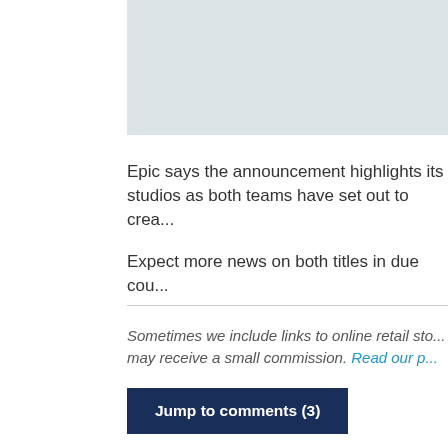[Figure (other): Light blue-gray placeholder image area at top of page]
Epic says the announcement highlights its studios as both teams have set out to crea...
Expect more news on both titles in due cou...
Sometimes we include links to online retail sto... may receive a small commission. Read our p...
Jump to comments (3)